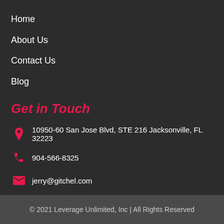Home
About Us
Contact Us
Blog
Get in Touch
10950-60 San Jose Blvd, STE 216 Jacksonville, FL 32223
904-566-8325
jerry@gitchel.com
© 2021 Leverage Unlimited, Inc | All Rights Reserved